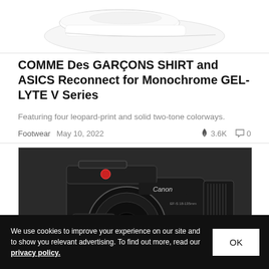[Figure (photo): Partial view of a white sneaker against a white background, cropped at top]
COMME Des GARÇONS SHIRT and ASICS Reconnect for Monochrome GEL-LYTE V Series
Featuring four leopard-print and solid two-tone colorways.
Footwear   May 10, 2022   🔥 3.6K   💬 0
[Figure (photo): Canon camera (XC model) with lens and accessories, photographed from above at an angle, dark background]